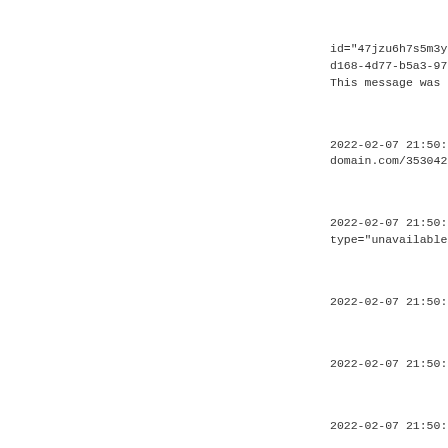id="47jzu6h7s5m3ypvy0m
d168-4d77-b5a3-972be77
This message was set a
2022-02-07 21:50:34 |
domain.com/353042745-t
2022-02-07 21:50:34 |
type="unavailable" xml
2022-02-07 21:50:34 |
2022-02-07 21:50:34 |
2022-02-07 21:50:34 |
2022-02-07 21:50:34 |
2022-02-07 21:50:35 |
hash="sha-1" ver="mg5b
2022-02-07 21:50:35 |
xmlns="jabber:client"
node="http://tigase.or
2022-02-07 21:50:35 |